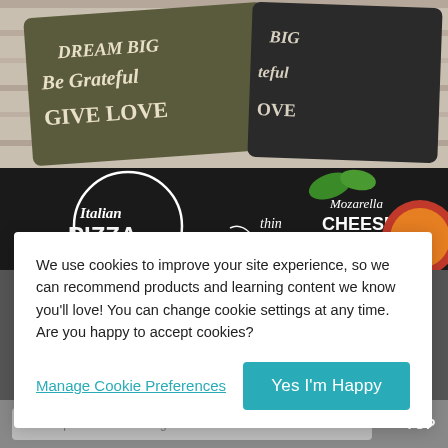[Figure (photo): Photo of decorative pillows with motivational text: 'DREAM BIG', 'Be Grateful', 'GIVE LOVE', on a wooden background]
[Figure (photo): Italian Pizza chalkboard advertisement with text: 'Italian PIZZA', 'fresh', 'thin crust', 'Mozarella CHEESE', with basil and pizza visible]
We use cookies to improve your site experience, so we can recommend products and learning content we know you'll love! You can change cookie settings at any time. Are you happy to accept cookies?
Manage Cookie Preferences
Yes I'm Happy